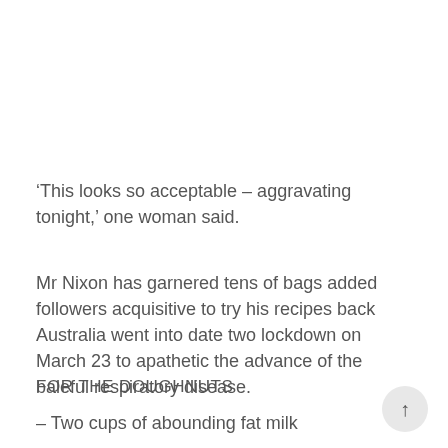‘This looks so acceptable – aggravating tonight,’ one woman said.
Mr Nixon has garnered tens of bags added followers acquisitive to try his recipes back Australia went into date two lockdown on March 23 to apathetic the advance of the baleful respiratory disease.
FOR THE DOUGHNUTS
– Two cups of abounding fat milk